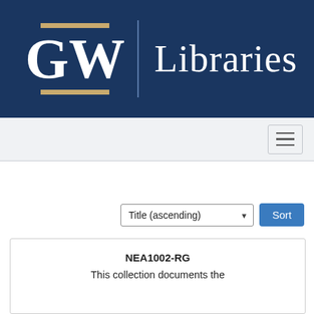[Figure (logo): GW Libraries logo on dark navy blue background. Large white GW letters with gold horizontal bars above and below, a vertical divider line, and 'Libraries' text in white serif font.]
[Figure (screenshot): Navigation bar with hamburger menu icon (three horizontal lines) on light gray background.]
[Figure (screenshot): Sort dropdown showing 'Title (ascending)' with a blue Sort button.]
NEA1002-RG
This collection documents the